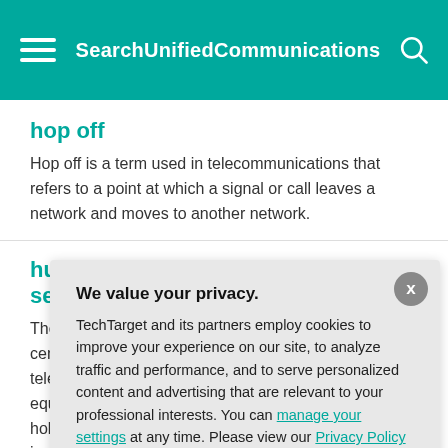SearchUnifiedCommunications
hop off
Hop off is a term used in telecommunications that refers to a point at which a signal or call leaves a network and moves to another network.
hundr... seco...
The hu... centum... teleco... equiva... holdin... in an h...
hyperc...
Hyperc... commu... capac...
[Figure (screenshot): Privacy consent dialog overlay. Headline: 'We value your privacy.' Body text: 'TechTarget and its partners employ cookies to improve your experience on our site, to analyze traffic and performance, and to serve personalized content and advertising that are relevant to your professional interests. You can manage your settings at any time. Please view our Privacy Policy for more information'. Buttons: OK (teal), Settings (white/grey border). Close X button top right.]